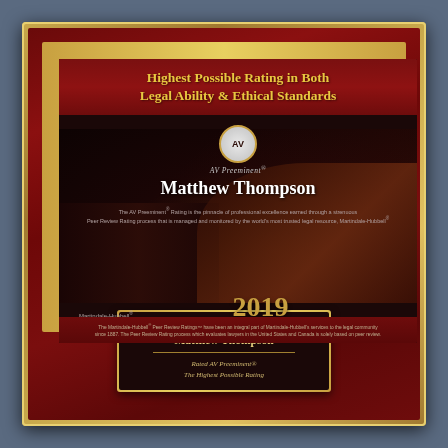[Figure (photo): Martindale-Hubbell AV Preeminent 2019 award plaque for Matthew Thompson, featuring a dark background with a gavel and law books, gold border, and congratulatory plate at the bottom.]
Highest Possible Rating in Both Legal Ability & Ethical Standards
AV Preeminent®
Matthew Thompson
The AV Preeminent® Rating is the pinnacle of professional excellence earned through a strenuous Peer Review Rating process that is managed and monitored by the world's most trusted legal resource, Martindale-Hubbell®
2019
Martindale-Hubbell®
The Martindale-Hubbell® Peer Review Ratings™ have been an integral part of Martindale-Hubbell's services to the legal community since 1887. The Peer Review Rating process which evaluates lawyers in the United States and Canada is solely based on peer review.
Congratulations
Matthew Thompson
Rated AV Preeminent®
The Highest Possible Rating